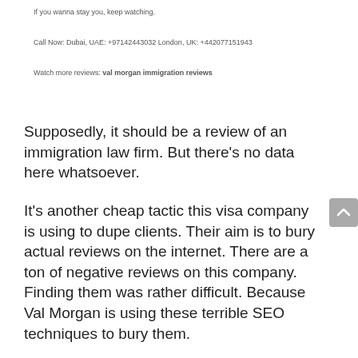If you wanna stay you, keep watching.
Call Now: Dubai, UAE: +97142443032 London, UK: +442077151943
Watch more reviews: val morgan immigration reviews
Supposedly, it should be a review of an immigration law firm. But there's no data here whatsoever.
It's another cheap tactic this visa company is using to dupe clients. Their aim is to bury actual reviews on the internet. There are a ton of negative reviews on this company. Finding them was rather difficult. Because Val Morgan is using these terrible SEO techniques to bury them.
That's a big reason why I wrote this Gripeo review. Companies that try to bury the voices of their customers